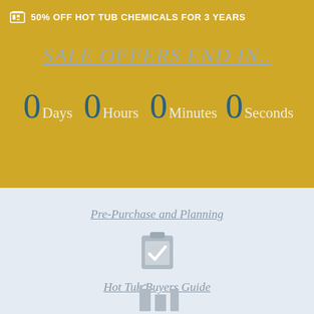50% OFF HOT TUB CHEMICALS FOR 3 YEARS
SALE OFFERS END IN..
0 Days  0 Hours  0 Minutes  0 Seconds
Pre-Purchase and Planning
[Figure (illustration): Clipboard with checkmark icon in gray]
Hot Tub Buyers Guide
[Figure (illustration): Partially visible house/structure icon in gray at bottom]